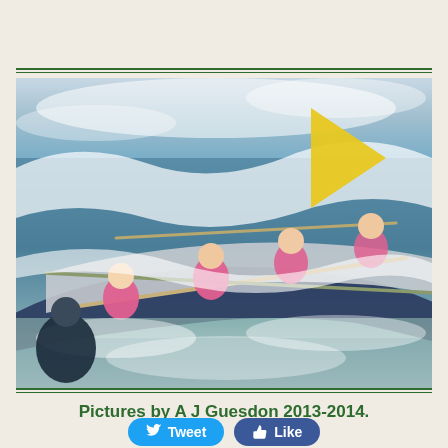[Figure (photo): Surf lifesaving competition: four women in pink uniforms paddling an outrigger canoe through waves. A yellow triangular sail/flag is visible in the background. Spray and white water surround the boat.]
Pictures by A J Guesdon 2013-2014.
Tweet  Like